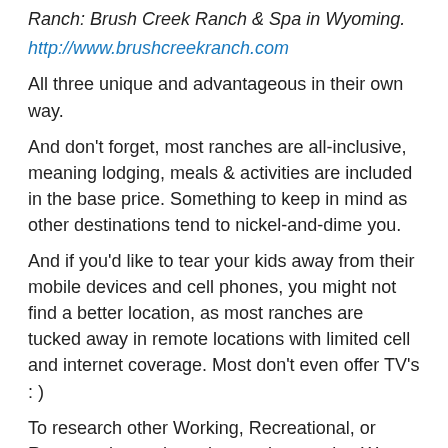Ranch: Brush Creek Ranch & Spa in Wyoming.
http://www.brushcreekranch.com
All three unique and advantageous in their own way.
And don't forget, most ranches are all-inclusive, meaning lodging, meals & activities are included in the base price. Something to keep in mind as other destinations tend to nickel-and-dime you.
And if you'd like to tear your kids away from their mobile devices and cell phones, you might not find a better location, as most ranches are tucked away in remote locations with limited cell and internet coverage. Most don't even offer TV's : )
To research other Working, Recreational, or Resort style ranches, drop on by our site. We have over 200 dude ranch vacation destinations listed and have them organized by state as well as region. Also, feel free to follow us on Twitter and Facebook, as we'll be live posting our upcoming August dude ranch road-trip through Wyoming & Colorado! One of our